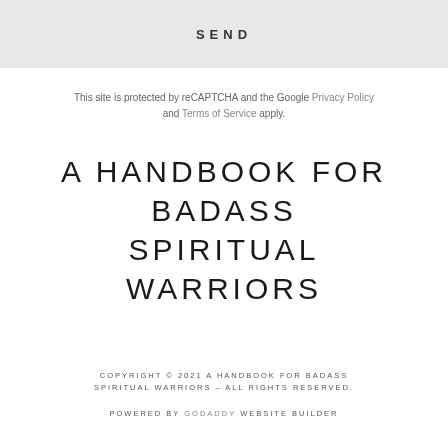SEND
This site is protected by reCAPTCHA and the Google Privacy Policy and Terms of Service apply.
A HANDBOOK FOR BADASS SPIRITUAL WARRIORS
COPYRIGHT © 2021 A HANDBOOK FOR BADASS SPIRITUAL WARRIORS – ALL RIGHTS RESERVED.
POWERED BY GODADDY WEBSITE BUILDER